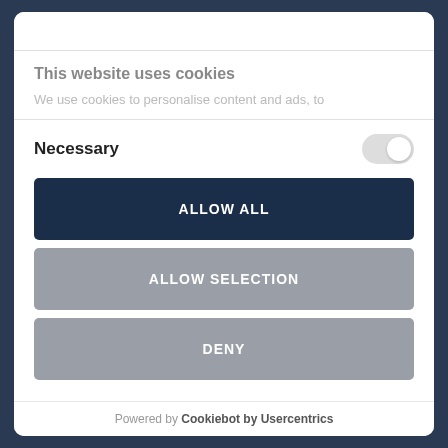This website uses cookies
We use cookies to personalise content and ads, to
Necessary
ALLOW ALL
ALLOW SELECTION
DENY
Powered by Cookiebot by Usercentrics